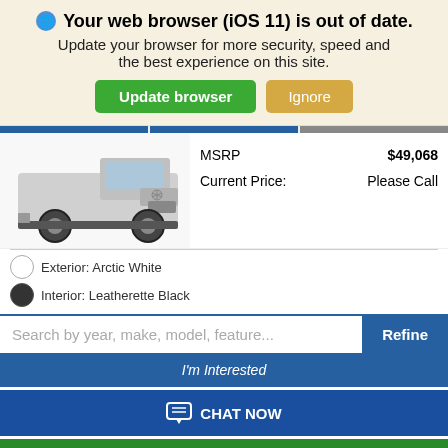Your web browser (iOS 11) is out of date. Update your browser for more security, speed and the best experience on this site.
[Figure (screenshot): Browser update banner with Update browser (green) and Ignore (tan) buttons]
[Figure (photo): Mercedes-Benz white van/truck front view]
MSRP $49,068
Current Price: Please Call
Exterior: Arctic White
Interior: Leatherette Black
Search by year, make, model, feature...
I'm Interested
CHAT NOW
SEE PAYMENT OPTIONS
START BUYING PROCESS
VEHICLE